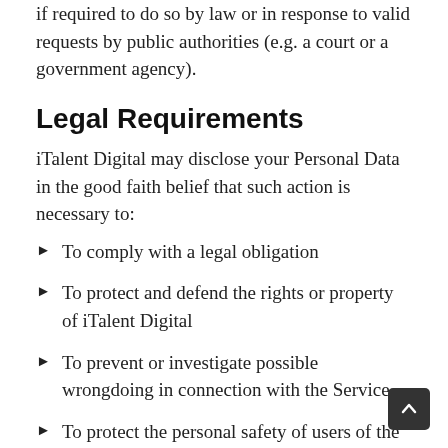if required to do so by law or in response to valid requests by public authorities (e.g. a court or a government agency).
Legal Requirements
iTalent Digital may disclose your Personal Data in the good faith belief that such action is necessary to:
To comply with a legal obligation
To protect and defend the rights or property of iTalent Digital
To prevent or investigate possible wrongdoing in connection with the Service
To protect the personal safety of users of the Service or the public